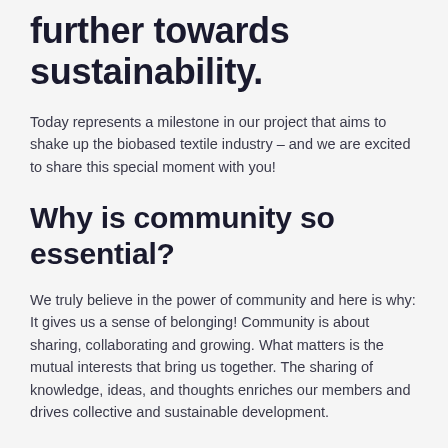further towards sustainability.
Today represents a milestone in our project that aims to shake up the biobased textile industry – and we are excited to share this special moment with you!
Why is community so essential?
We truly believe in the power of community and here is why: It gives us a sense of belonging! Community is about sharing, collaborating and growing. What matters is the mutual interests that bring us together. The sharing of knowledge, ideas, and thoughts enriches our members and drives collective and sustainable development.